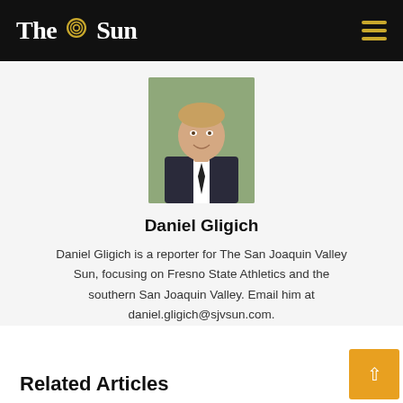The Sun
[Figure (photo): Headshot of Daniel Gligich, a man in a dark suit and tie, smiling, with green foliage background]
Daniel Gligich
Daniel Gligich is a reporter for The San Joaquin Valley Sun, focusing on Fresno State Athletics and the southern San Joaquin Valley. Email him at daniel.gligich@sjvsun.com.
Related Articles